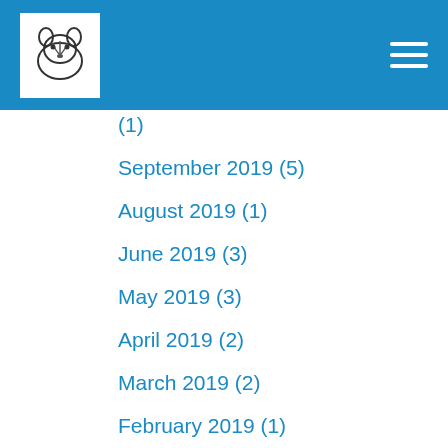(1)
September 2019 (5)
August 2019 (1)
June 2019 (3)
May 2019 (3)
April 2019 (2)
March 2019 (2)
February 2019 (1)
January 2019 (1)
December 2018 (2)
November 2018 (1)